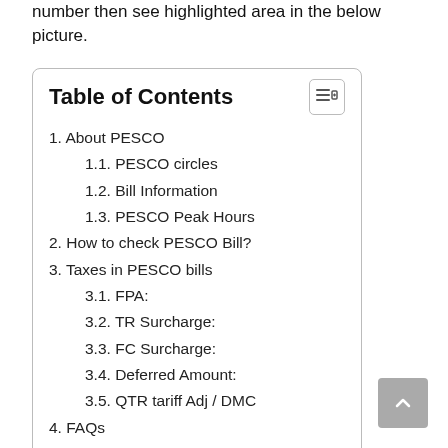number then see highlighted area in the below picture.
1. About PESCO
1.1. PESCO circles
1.2. Bill Information
1.3. PESCO Peak Hours
2. How to check PESCO Bill?
3. Taxes in PESCO bills
3.1. FPA:
3.2. TR Surcharge:
3.3. FC Surcharge:
3.4. Deferred Amount:
3.5. QTR tariff Adj / DMC
4. FAQs